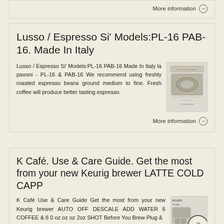More information →
Lusso / Espresso Si' Models:PL-16 PAB-16. Made In Italy
Lusso / Espresso Si' Models:PL-16 PAB-16 Made In Italy la pavoni - PL-16 & PAB-16 We recommend using freshly roasted espresso beans ground medium to fine. Fresh coffee will produce better tasting espresso.
[Figure (photo): Small product image of espresso machine]
More information →
K Café. Use & Care Guide. Get the most from your new Keurig brewer LATTE COLD CAPP
K Café Use & Care Guide Get the most from your new Keurig brewer AUTO OFF DESCALE ADD WATER 6 COFFEE & 8 0 oz oz oz 2oz SHOT Before You Brew Plug &
[Figure (photo): Small product image of K Cafe brewer]